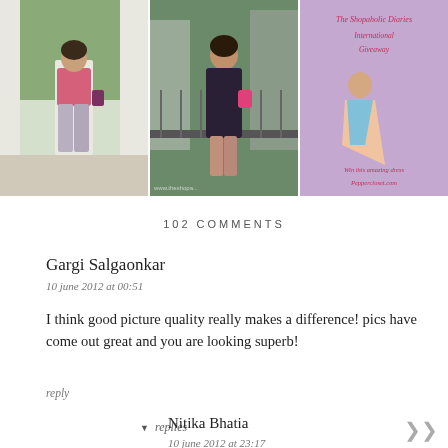[Figure (photo): Three images side by side: (1) woman in pink top and grey patterned pants indoors, (2) woman in dark floral dress outdoors with city background, (3) giveaway banner for The Shopaholic Diaries showing woman in colorful dress with text about international giveaway on Peppercloset.com]
102 COMMENTS
Gargi Salgaonkar
10 june 2012 at 00:51
I think good picture quality really makes a difference! pics have come out great and you are looking superb!
reply
replies
Nitika Bhatia
10 june 2012 at 23:17
I totally agree with you!! I myself find how better...